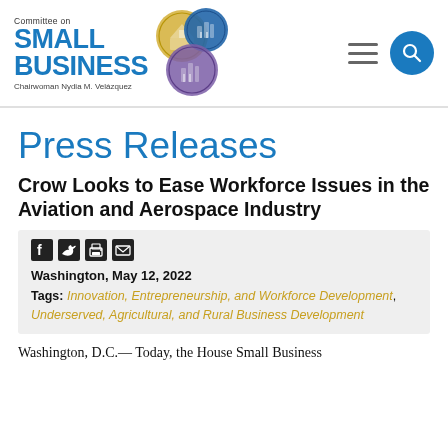Committee on Small Business — Chairwoman Nydia M. Velázquez
Press Releases
Crow Looks to Ease Workforce Issues in the Aviation and Aerospace Industry
Washington, May 12, 2022
Tags: Innovation, Entrepreneurship, and Workforce Development , Underserved, Agricultural, and Rural Business Development
Washington, D.C.— Today, the House Small Business